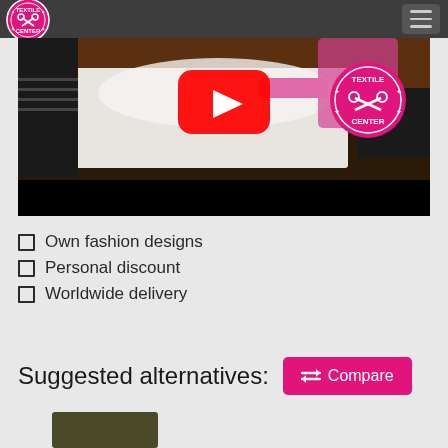Textile Center navigation header
[Figure (screenshot): Video thumbnail showing a person handling white fabric on a printing machine, with a YouTube play button overlay and Textile Center logo badge in top right corner]
Own fashion designs
Personal discount
Worldwide delivery
Suggested alternatives:
[Figure (screenshot): Dark olive/khaki colored product thumbnail at bottom of page]